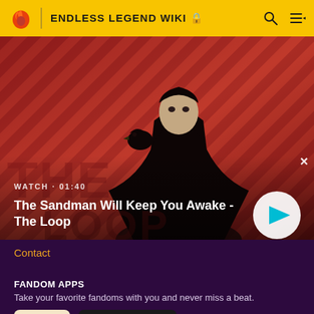ENDLESS LEGEND WIKI
[Figure (screenshot): Video thumbnail showing a dark figure in a black cape with a raven on their shoulder, against a red and dark diagonal striped background. Text overlay reads 'The Loop'. Label shows WATCH · 01:40.]
The Sandman Will Keep You Awake - The Loop
Contact
FANDOM APPS
Take your favorite fandoms with you and never miss a beat.
[Figure (logo): Fandom app badge with pink/red arrow logo on cream background]
[Figure (logo): Download on the App Store badge, black background with Apple logo]